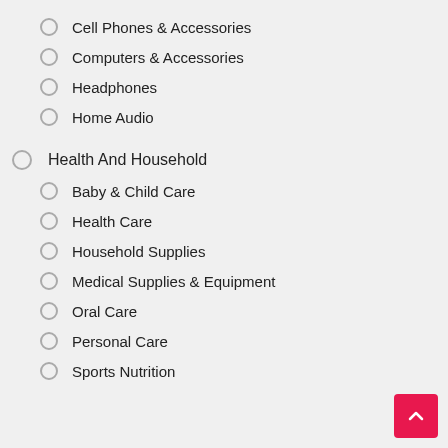Cell Phones & Accessories
Computers & Accessories
Headphones
Home Audio
Health And Household
Baby & Child Care
Health Care
Household Supplies
Medical Supplies & Equipment
Oral Care
Personal Care
Sports Nutrition